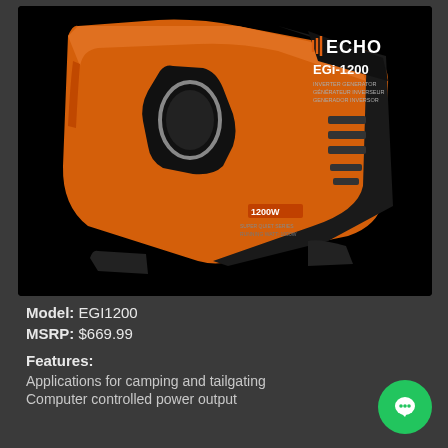[Figure (photo): ECHO EGi-1200 Inverter Generator product photo. Orange and black portable inverter generator on black background. ECHO logo and EGi-1200 model name visible on the unit.]
Model: EGI1200
MSRP: $669.99
Features:
Applications for camping and tailgating
Computer controlled power output